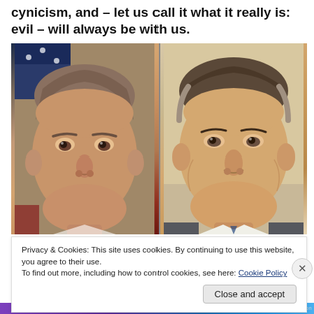cynicism, and – let us call it what it really is: evil – will always be with us.
[Figure (photo): Side-by-side portrait photos of two men: George W. Bush on the left and Mitt Romney on the right, both smiling.]
Privacy & Cookies: This site uses cookies. By continuing to use this website, you agree to their use.
To find out more, including how to control cookies, see here: Cookie Policy